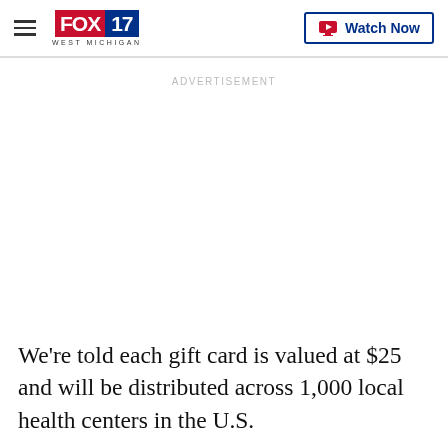FOX 17 WEST MICHIGAN | Watch Now
ADVERTISEMENT
We're told each gift card is valued at $25 and will be distributed across 1,000 local health centers in the U.S.